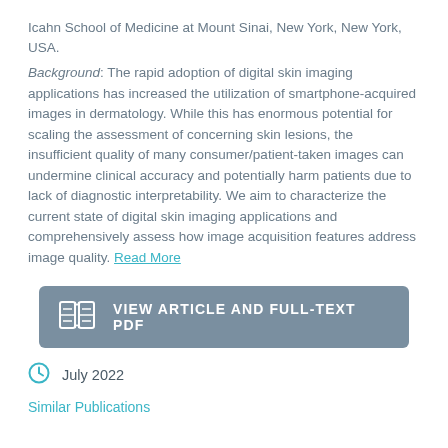Icahn School of Medicine at Mount Sinai, New York, New York, USA.
Background: The rapid adoption of digital skin imaging applications has increased the utilization of smartphone-acquired images in dermatology. While this has enormous potential for scaling the assessment of concerning skin lesions, the insufficient quality of many consumer/patient-taken images can undermine clinical accuracy and potentially harm patients due to lack of diagnostic interpretability. We aim to characterize the current state of digital skin imaging applications and comprehensively assess how image acquisition features address image quality. Read More
[Figure (other): Button: VIEW ARTICLE AND FULL-TEXT PDF with book/article icon]
July 2022
Similar Publications